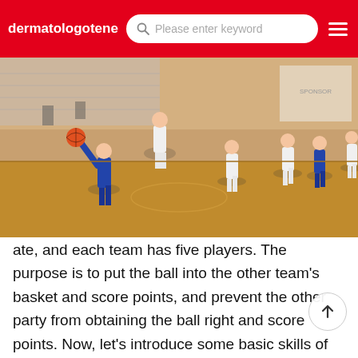dermatologotene  [search bar: Please enter keyword]  [menu icon]
[Figure (photo): Basketball game scene inside an indoor gymnasium. Players in white uniforms and players in blue uniforms competing on a hardwood court. A basketball hoop is visible in the background along with spectator seating and sponsor banners.]
ate, and each team has five players. The purpose is to put the ball into the other team's basket and score points, and prevent the other party from obtaining the ball right and score points. Now, let's introduce some basic skills of playing basketballWho can tell me the skills of playing basketball? I can't learn how to jump and shoot
When shooting, stretch your arms upward and forward (pointing to the basket frame, of course), bend your wrists upward and forward, and finally push the ball out with your fingers. In this way, the shooting will make the basketball spin downward, and there will be no big rebound when touching